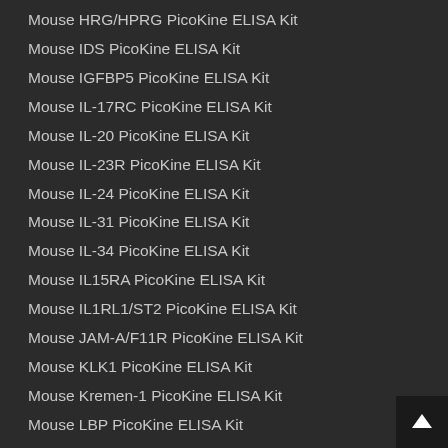Mouse HRG/HPRG PicoKine ELISA Kit
Mouse IDS PicoKine ELISA Kit
Mouse IGFBP5 PicoKine ELISA Kit
Mouse IL-17RC PicoKine ELISA Kit
Mouse IL-20 PicoKine ELISA Kit
Mouse IL-23R PicoKine ELISA Kit
Mouse IL-24 PicoKine ELISA Kit
Mouse IL-31 PicoKine ELISA Kit
Mouse IL-34 PicoKine ELISA Kit
Mouse IL15RA PicoKine ELISA Kit
Mouse IL1RL1/ST2 PicoKine ELISA Kit
Mouse JAM-A/F11R PicoKine ELISA Kit
Mouse KLK1 PicoKine ELISA Kit
Mouse Kremen-1 PicoKine ELISA Kit
Mouse LBP PicoKine ELISA Kit
Mouse LDLR PicoKine ELISA Kit
Mouse Legumain(total) PicoKine™ ELISA Kit
Mouse Lumican PicoKine ELISA Kit